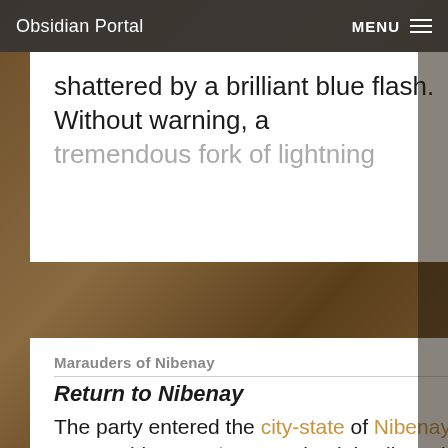Obsidian Portal | MENU
shattered by a brilliant blue flash. Without warning, a tremendous fork of lightning
View
Marauders of Nibenay
Return to Nibenay
The party entered the city-state of Nibenay without any trouble as Delen's credentials allowed them to bypass much of the
View
3 DEC/2017